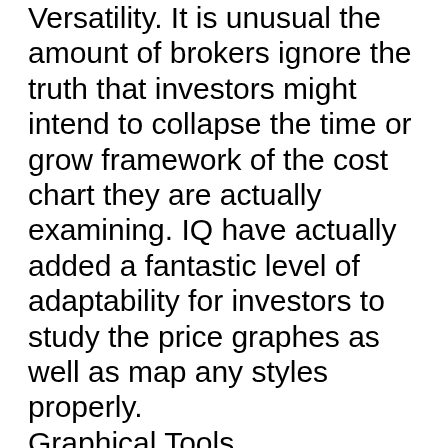Versatility. It is unusual the amount of brokers ignore the truth that investors might intend to collapse the time or grow framework of the cost chart they are actually examining. IQ have actually added a fantastic level of adaptability for investors to study the price graphes as well as map any styles properly.
Graphical Tools
An organic development coming from making it possible for the charts to be broadened, is actually to enable investors to draw their own interpretations on charts. The graphic resources allow traders to include fads, or even support as well as resistance series– the devices can be utilized nonetheless an investor wants. This is essential for traders intending to get their